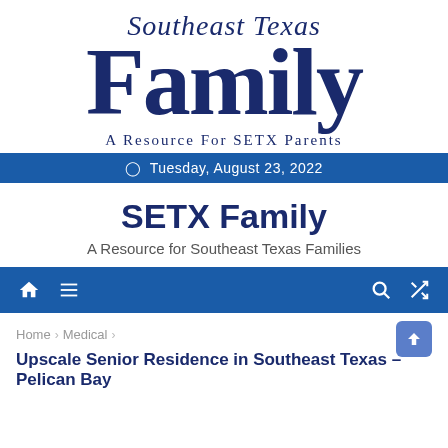[Figure (logo): Southeast Texas FAMILY magazine logo with large serif FAMILY text and tagline 'A Resource For SETX Parents']
Tuesday, August 23, 2022
SETX Family
A Resource for Southeast Texas Families
[Figure (screenshot): Navigation bar with home icon, menu icon, search icon, and shuffle icon on blue background]
Home > Medical >
Upscale Senior Residence in Southeast Texas – Pelican Bay